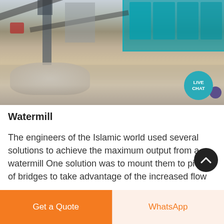[Figure (photo): Aerial view of a stone quarry or mining facility with conveyor belts, teal-colored machinery/silos, rocky terrain, and earthmoving equipment. A 'LIVE CHAT' button overlay appears in the upper-right corner of the image.]
Watermill
The engineers of the Islamic world used several solutions to achieve the maximum output from a watermill One solution was to mount them to piers of bridges to take advantage of the increased flow Another solution was the shipmill a type of watermill
Get a Quote
WhatsApp